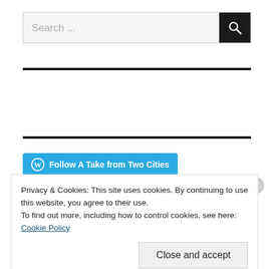Search ...
Follow A Take from Two Cities
Privacy & Cookies: This site uses cookies. By continuing to use this website, you agree to their use.
To find out more, including how to control cookies, see here: Cookie Policy
Close and accept